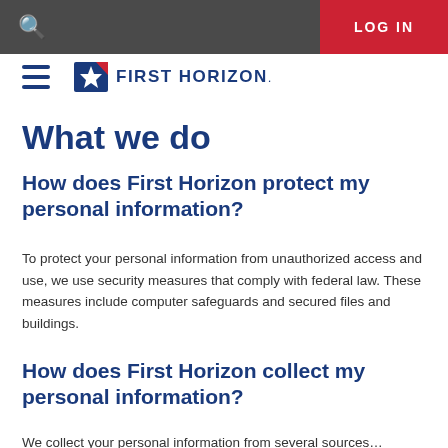LOG IN
[Figure (logo): First Horizon bank logo with hamburger menu icon]
What we do
How does First Horizon protect my personal information?
To protect your personal information from unauthorized access and use, we use security measures that comply with federal law. These measures include computer safeguards and secured files and buildings.
How does First Horizon collect my personal information?
We collect your personal information from several sources…